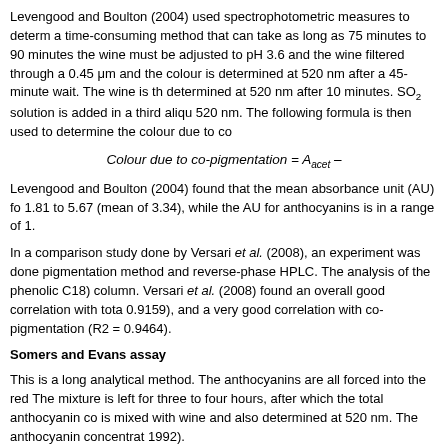Levengood and Boulton (2004) used spectrophotometric measures to determine a time-consuming method that can take as long as 75 minutes to 90 minutes. the wine must be adjusted to pH 3.6 and the wine filtered through a 0.45 μm and the colour is determined at 520 nm after a 45-minute wait. The wine is then determined at 520 nm after 10 minutes. SO₂ solution is added in a third aliquot 520 nm. The following formula is then used to determine the colour due to co-
Levengood and Boulton (2004) found that the mean absorbance unit (AU) for 1.81 to 5.67 (mean of 3.34), while the AU for anthocyanins is in a range of 1.
In a comparison study done by Versari et al. (2008), an experiment was done pigmentation method and reverse-phase HPLC. The analysis of the phenolic C18) column. Versari et al. (2008) found an overall good correlation with total 0.9159), and a very good correlation with co-pigmentation (R2 = 0.9464).
Somers and Evans assay
This is a long analytical method. The anthocyanins are all forced into the red The mixture is left for three to four hours, after which the total anthocyanin concentration is mixed with wine and also determined at 520 nm. The anthocyanin concentration 1992).
Ribéreau-Gayon and Stonestreet assay
This is a faster method than Somers and Evans's method, as it take about 15